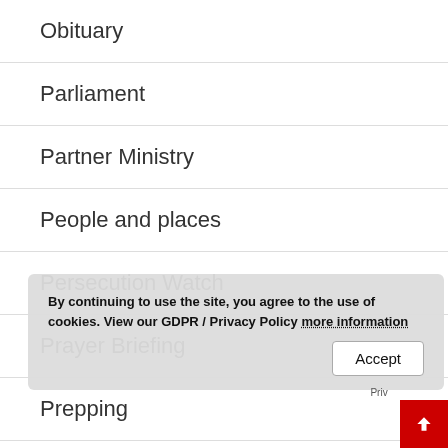Obituary
Parliament
Partner Ministry
People and places
Persecution Watch
Prayer Briefing
Prepping
Prophecy Today UK
By continuing to use the site, you agree to the use of cookies. View our GDPR / Privacy Policy more information